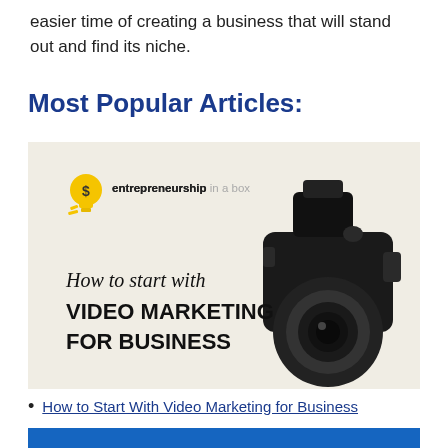easier time of creating a business that will stand out and find its niche.
Most Popular Articles:
[Figure (illustration): Promotional image for 'How to start with VIDEO MARKETING FOR BUSINESS' with entrepreneurship in a box logo and a professional video camera on a light beige background.]
How to Start With Video Marketing for Business
[Figure (illustration): Partially visible image at bottom of page with blue background.]